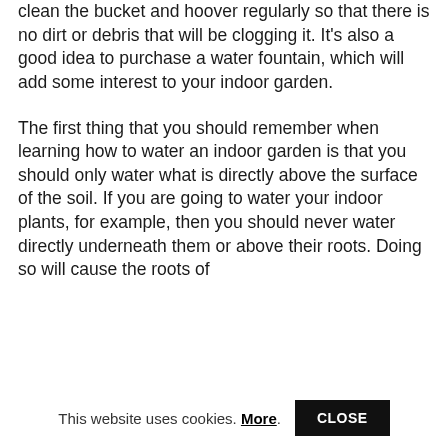clean the bucket and hoover regularly so that there is no dirt or debris that will be clogging it. It’s also a good idea to purchase a water fountain, which will add some interest to your indoor garden.
The first thing that you should remember when learning how to water an indoor garden is that you should only water what is directly above the surface of the soil. If you are going to water your indoor plants, for example, then you should never water directly underneath them or above their roots. Doing so will cause the roots of
This website uses cookies. More. CLOSE